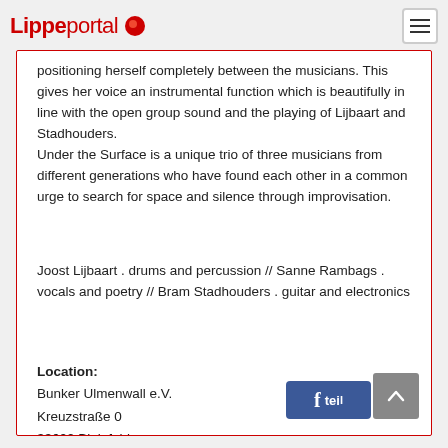Lippeportal
positioning herself completely between the musicians. This gives her voice an instrumental function which is beautifully in line with the open group sound and the playing of Lijbaart and Stadhouders. Under the Surface is a unique trio of three musicians from different generations who have found each other in a common urge to search for space and silence through improvisation.
Joost Lijbaart . drums and percussion // Sanne Rambags . vocals and poetry // Bram Stadhouders . guitar and electronics
Location:
Bunker Ulmenwall e.V.
Kreuzstraße 0
33602 Bielefeld
[Figure (screenshot): Facebook share button and scroll-to-top button at bottom right]